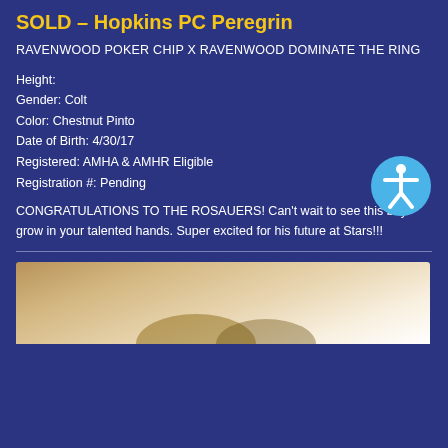SOLD – Hopkins PC Peregrin
RAVENWOOD POKER CHIP X RAVENWOOD DOMINATE THE RING
Height:
Gender: Colt
Color: Chestnut Pinto
Date of Birth: 4/30/17
Registered: AMHA & AMHR Eligible
Registration #: Pending
CONGRATULATIONS TO THE ROSAUERS! Can't wait to see this boy grow in your talented hands. Super excited for his future at Stars!!!
[Figure (photo): Photo of a horse (Hopkins PC Peregrin), partially visible at the bottom of the page, showing a chestnut pinto colt.]